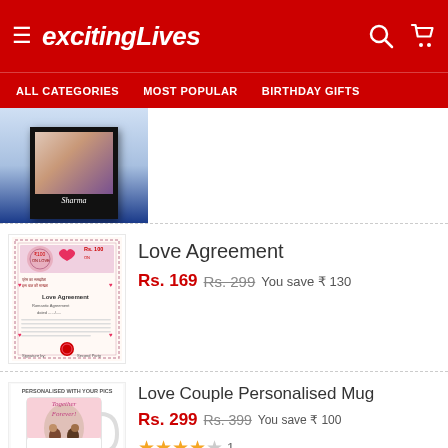excitingLives
ALL CATEGORIES   MOST POPULAR   BIRTHDAY GIFTS
[Figure (photo): Personalized photo frame with couple photo, labeled Sharma, in a black frame on blue background]
Love Agreement
Rs. 169  Rs. 299  You save ₹ 130
[Figure (photo): Love Agreement certificate product image]
Love Couple Personalised Mug
Rs. 299  Rs. 399  You save ₹ 100
★★★★☆ 1
[Figure (photo): Personalised mug with couple photo, text Together Forever, labelled PERSONALISED WITH YOUR PICS]